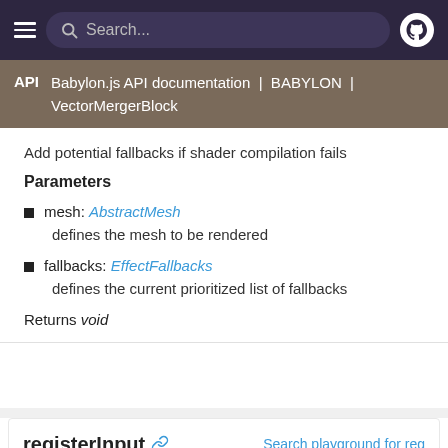Search...
API | Babylon.js API documentation | BABYLON | VectorMergerBlock
Add potential fallbacks if shader compilation fails
Parameters
mesh: AbstractMesh
defines the mesh to be rendered
fallbacks: EffectFallbacks
defines the current prioritized list of fallbacks
Returns void
registerInput